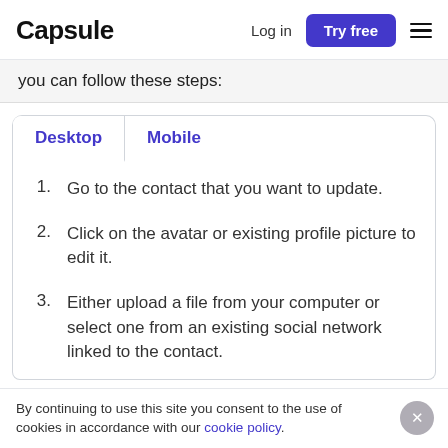Capsule | Log in | Try free
you can follow these steps:
Desktop | Mobile
1. Go to the contact that you want to update.
2. Click on the avatar or existing profile picture to edit it.
3. Either upload a file from your computer or select one from an existing social network linked to the contact.
By continuing to use this site you consent to the use of cookies in accordance with our cookie policy.